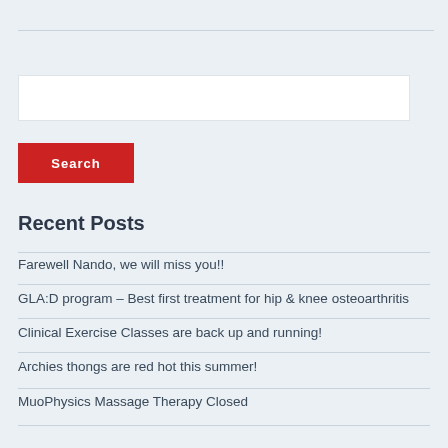[Figure (other): Search input box (white rectangle)]
Search
Recent Posts
Farewell Nando, we will miss you!!
GLA:D program – Best first treatment for hip & knee osteoarthritis
Clinical Exercise Classes are back up and running!
Archies thongs are red hot this summer!
MuoPhysics Massage Therapy Closed